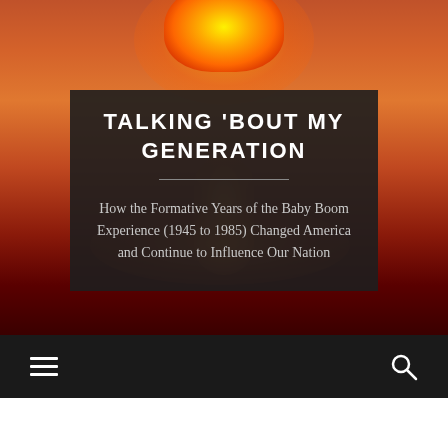[Figure (photo): Nuclear explosion mushroom cloud with orange and red fireball against a dark dramatic sky, used as hero background image]
TALKING 'BOUT MY GENERATION
How the Formative Years of the Baby Boom Experience (1945 to 1985) Changed America and Continue to Influence Our Nation